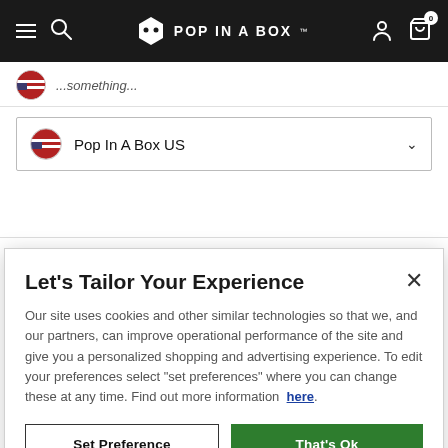Pop In A Box — navigation bar with hamburger menu, search, logo, user icon, cart (0)
Pop In A Box US
Legal Information
Let's Tailor Your Experience
Our site uses cookies and other similar technologies so that we, and our partners, can improve operational performance of the site and give you a personalized shopping and advertising experience. To edit your preferences select "set preferences" where you can change these at any time. Find out more information here.
Set Preference | That's Ok